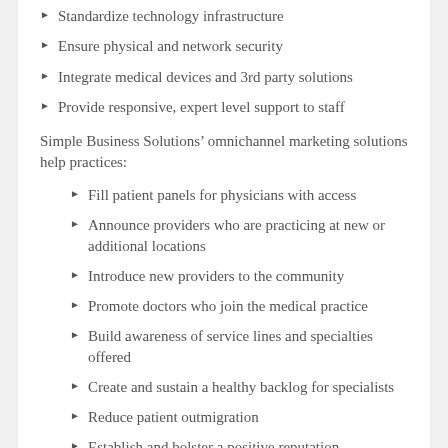Standardize technology infrastructure
Ensure physical and network security
Integrate medical devices and 3rd party solutions
Provide responsive, expert level support to staff
Simple Business Solutions’ omnichannel marketing solutions help practices:
Fill patient panels for physicians with access
Announce providers who are practicing at new or additional locations
Introduce new providers to the community
Promote doctors who join the medical practice
Build awareness of service lines and specialties offered
Create and sustain a healthy backlog for specialists
Reduce patient outmigration
Establish and bolster a positive reputation
“It is my pleasure to introduce Simple Business Solutions’ turnkey omnichannel marketing solutions to our healthcare